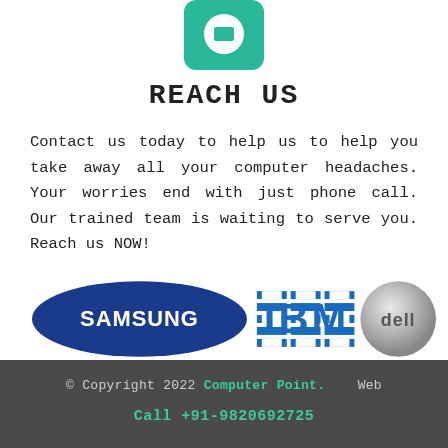[Figure (logo): Teal/green rounded square icon with a white circular phone or chat symbol in the center]
REACH US
Contact us today to help us to help you take away all your computer headaches. Your worries end with just phone call. Our trained team is waiting to serve you. Reach us NOW!
[Figure (logo): Brand logos: Samsung (blue oval logo), IBM (blue striped IBM text), Dell (grey sphere with Dell text)]
© Copyright 2022 Computer Point.    Web
Call +91-9820692725